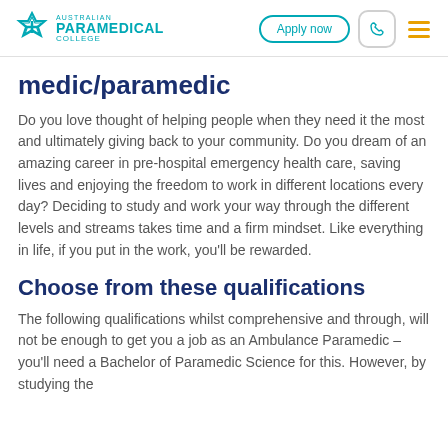Australian Paramedical College — Apply now | phone | menu
medic/paramedic
Do you love thought of helping people when they need it the most and ultimately giving back to your community. Do you dream of an amazing career in pre-hospital emergency health care, saving lives and enjoying the freedom to work in different locations every day? Deciding to study and work your way through the different levels and streams takes time and a firm mindset. Like everything in life, if you put in the work, you'll be rewarded.
Choose from these qualifications
The following qualifications whilst comprehensive and through, will not be enough to get you a job as an Ambulance Paramedic – you'll need a Bachelor of Paramedic Science for this. However, by studying the